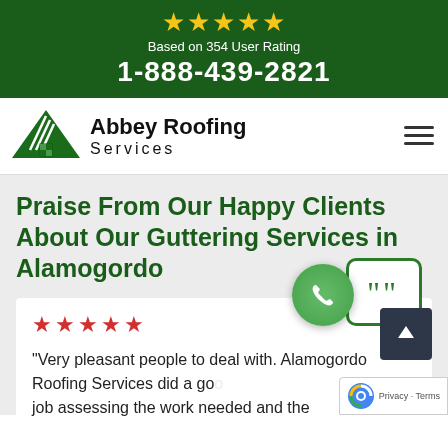★★★★★ Based on 354 User Rating 1-888-439-2821
[Figure (logo): Abbey Roofing Services logo with green house/roof icon and company name]
Praise From Our Happy Clients About Our Guttering Services in Alamogordo
★★★★★ "Very pleasant people to deal with. Alamogordo Roofing Services did a good job assessing the work needed and the